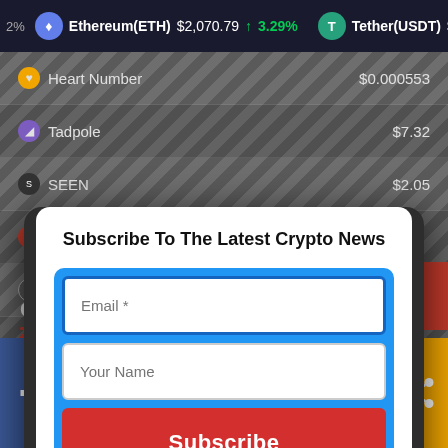2% Ethereum(ETH) $2,070.79 ↑ 3.29% Tether(USDT) $1.0
| Coin | Price |
| --- | --- |
| Heart Number | $0.000553 |
| Tadpole | $7.32 |
| SEEN | $2.05 |
| Eve... |  |
| Mar... |  |
| Sak... |  |
| WTF... |  |
| BNS... |  |
| Rob... |  |
Subscribe To The Latest Crypto News
Email *
Your Name
Subscribe
Cryptocurrency Converter